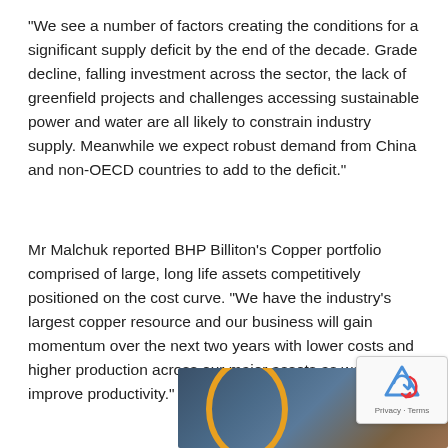“We see a number of factors creating the conditions for a significant supply deficit by the end of the decade. Grade decline, falling investment across the sector, the lack of greenfield projects and challenges accessing sustainable power and water are all likely to constrain industry supply. Meanwhile we expect robust demand from China and non-OECD countries to add to the deficit.”
Mr Malchuk reported BHP Billiton’s Copper portfolio comprised of large, long life assets competitively positioned on the cost curve. “We have the industry’s largest copper resource and our business will gain momentum over the next two years with lower costs and higher production across our major assets as we safely improve productivity.”
[Figure (photo): Partial photo of a person or industrial scene with a curved orange/yellow arc element visible, dark blue-teal and brown tones in background]